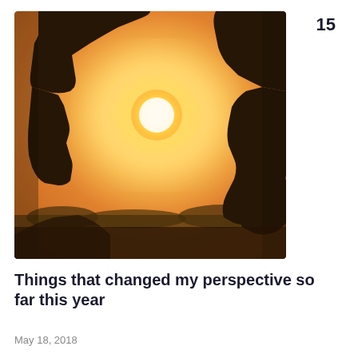15
[Figure (photo): Silhouette of two hands forming a rectangular frame shape against a warm golden sunset sky, with the bright sun visible through the frame formed by the fingers.]
Things that changed my perspective so far this year
May 18, 2018